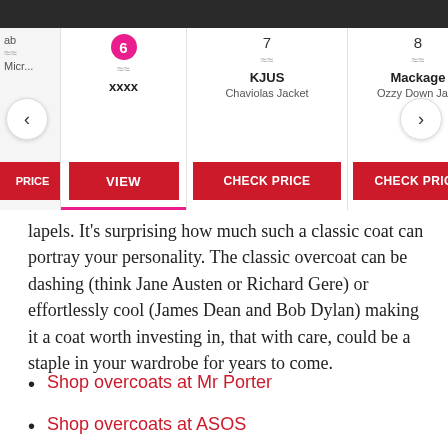[Figure (screenshot): Product carousel showing items 6 (xxxx), 7 (KJUS Chaviolas Jacket), 8 (Mackage Ozzy Down Jack), and 9 (partial). Item 6 has a VIEW button, items 7 and 8 have CHECK PRICE buttons. Navigation arrows on left and right. Item 6 tab is active with pink underline.]
lapels. It’s surprising how much such a classic coat can portray your personality. The classic overcoat can be dashing (think Jane Austen or Richard Gere) or effortlessly cool (James Dean and Bob Dylan) making it a coat worth investing in, that with care, could be a staple in your wardrobe for years to come.
Shop overcoats at Mr Porter
Shop overcoats at ASOS